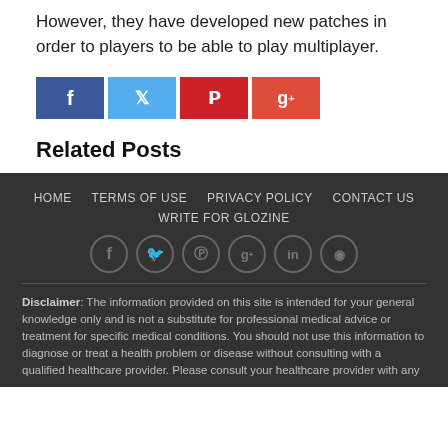However, they have developed new patches in order to players to be able to play multiplayer.
[Figure (infographic): Social media share buttons: Facebook (blue), Twitter (light blue), Pinterest (red), Google+ (red-orange)]
Related Posts
HOME  TERMS OF USE  PRIVACY POLICY  CONTACT US
WRITE FOR GLOZINE
[Social icons: Facebook, Twitter, Pinterest, Google+, LinkedIn, RSS]
Disclaimer: The information provided on this site is intended for your general knowledge only and is not a substitute for professional medical advice or treatment for specific medical conditions. You should not use this information to diagnose or treat a health problem or disease without consulting with a qualified healthcare provider. Please consult your healthcare provider with any